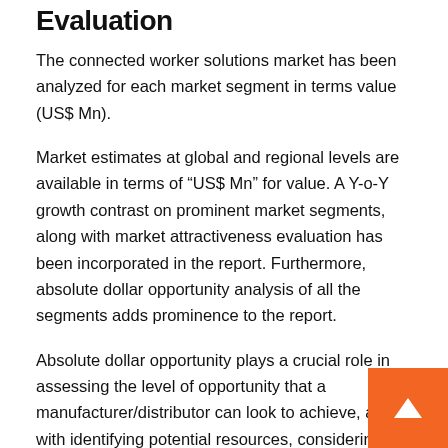Evaluation
The connected worker solutions market has been analyzed for each market segment in terms value (US$ Mn).
Market estimates at global and regional levels are available in terms of “US$ Mn” for value. A Y-o-Y growth contrast on prominent market segments, along with market attractiveness evaluation has been incorporated in the report. Furthermore, absolute dollar opportunity analysis of all the segments adds prominence to the report.
Absolute dollar opportunity plays a crucial role in assessing the level of opportunity that a manufacturer/distributor can look to achieve, along with identifying potential resources, considering the sales and distribution perspective in the global